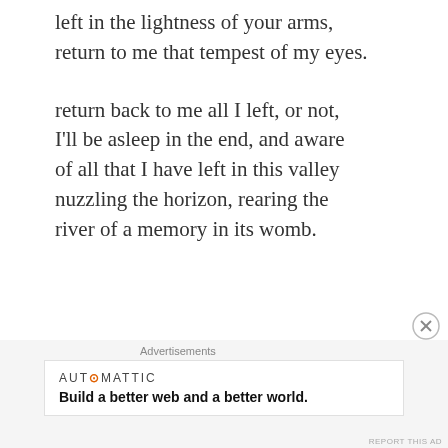left in the lightness of your arms,
return to me that tempest of my eyes.
return back to me all I left, or not,
I'll be asleep in the end, and aware
of all that I have left in this valley
nuzzling the horizon, rearing the
river of a memory in its womb.
I began to write keeping some other image in mind, but my muse took me somewhere else. After scrutinizing carefully through the wondrous collection of Totomai Martinez, I came across this photograph.
Advertisements
AUT⊙MATTIC
Build a better web and a better world.